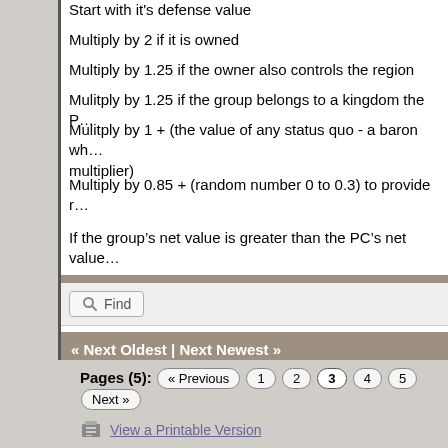Start with it's defense value
Multiply by 2 if it is owned
Multiply by 1.25 if the owner also controls the region
Mulitply by 1.25 if the group belongs to a kingdom the P...
Mulitply by 1 + (the value of any status quo - a baron wh... multiplier)
Multiply by 0.85 + (random number 0 to 0.3) to provide r...
If the group’s net value is greater than the PC’s net value...
« Next Oldest | Next Newest »
Pages (5): « Previous  1  2  3  4  5  Next »
View a Printable Version
Users browsing this thread: 1 Guest(s)